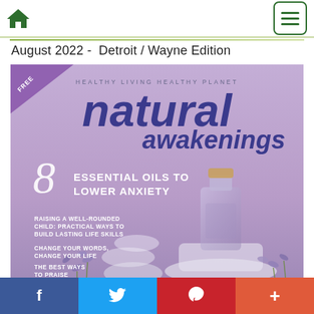Home | Menu
August 2022 -  Detroit / Wayne Edition
[Figure (illustration): Magazine cover of Natural Awakenings, August 2022, Detroit/Wayne Edition. Purple background with essential oil bottle, lavender flowers. Headlines: 8 Essential Oils to Lower Anxiety; Raising a Well-Rounded Child: Practical Ways to Build Lasting Life Skills; Change Your Words, Change Your Life; The Best Ways to Praise Your Kids. Tagline: Healthy Living Healthy Planet. FREE banner in top-left corner.]
f  (Facebook share)   Twitter share   Pinterest share   +